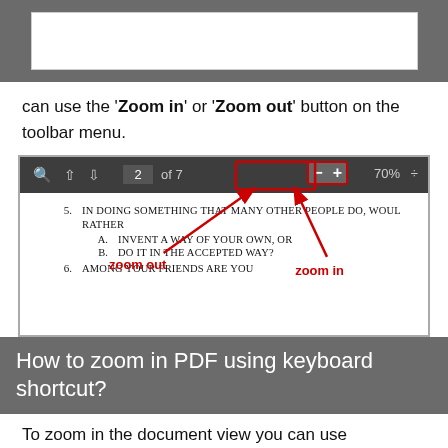[Figure (screenshot): Top grey bar with white rectangle (search/navigation bar area)]
can use the 'Zoom in' or 'Zoom out' button on the toolbar menu.
[Figure (screenshot): PDF viewer toolbar showing zoom controls with red box around minus and plus buttons, red arrows pointing to 'zoom out' and 'zoom in' labels, and document content showing questions 5 and 6]
How to zoom in PDF using keyboard shortcut?
To zoom in the document view you can use